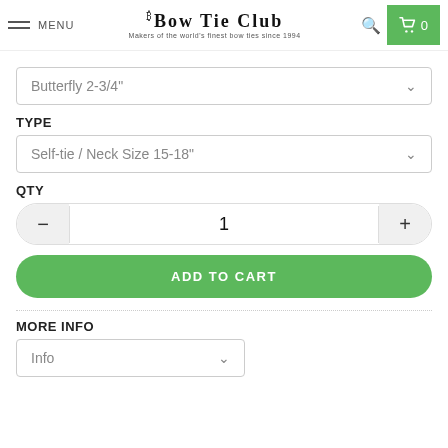MENU | THE BOW TIE CLUB — Makers of the world's finest bow ties since 1994 | 0
Butterfly 2-3/4"
TYPE
Self-tie / Neck Size 15-18"
QTY
1
ADD TO CART
MORE INFO
Info